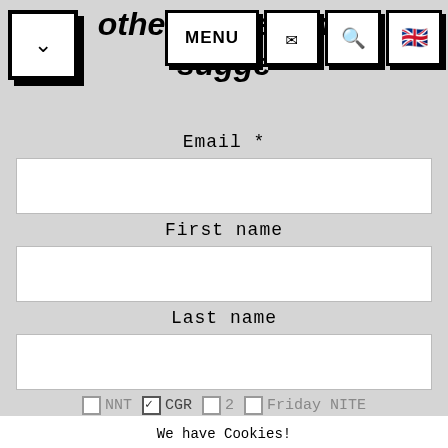other interesting suggestions
Email *
First name
Last name
NNT  CGR  2  Friday NITE
We have Cookies! More information
ACCEPT